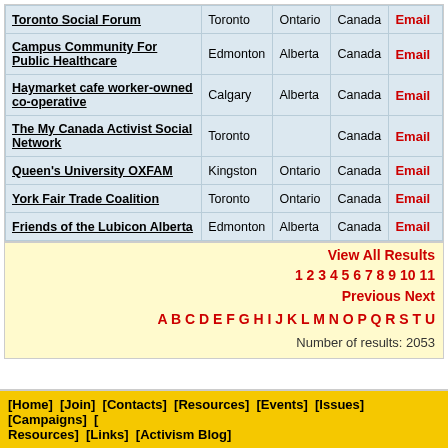| Organization | City | Province | Country | Contact |
| --- | --- | --- | --- | --- |
| Toronto Social Forum | Toronto | Ontario | Canada | Email |
| Campus Community For Public Healthcare | Edmonton | Alberta | Canada | Email |
| Haymarket cafe worker-owned co-operative | Calgary | Alberta | Canada | Email |
| The My Canada Activist Social Network | Toronto |  | Canada | Email |
| Queen's University OXFAM | Kingston | Ontario | Canada | Email |
| York Fair Trade Coalition | Toronto | Ontario | Canada | Email |
| Friends of the Lubicon Alberta | Edmonton | Alberta | Canada | Email |
View All Results
1 2 3 4 5 6 7 8 9 10 11 Previous Next
A B C D E F G H I J K L M N O P Q R S T U
Number of results: 2053
[Home] [Join] [Contacts] [Resources] [Events] [Issues] [Campaigns] [ Resources] [Links] [Activism Blog]